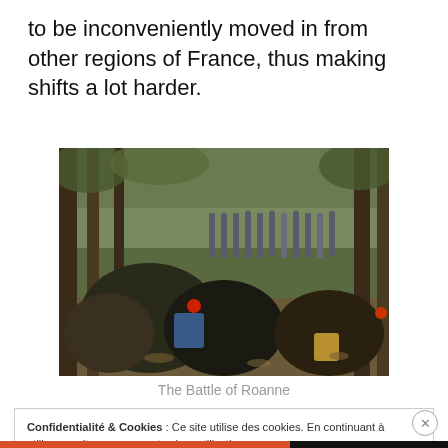to be inconveniently moved in from other regions of France, thus making shifts a lot harder.
[Figure (photo): Photo of protesters and riot police facing each other in a forest setting, known as The Battle of Roanne]
The Battle of Roanne
Confidentialité & Cookies : Ce site utilise des cookies. En continuant à utiliser ce site, vous acceptez leur utilisation.
Pour en savoir davantage, y compris comment contrôler les cookies, voir :
Politique relative aux cookies
Fermer et accepter